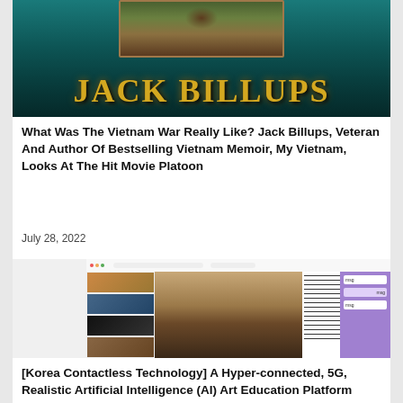[Figure (illustration): Book cover for Jack Billups with teal/dark green background and gold serif text reading JACK BILLUPS, with a framed image of a soldier at the top]
What Was The Vietnam War Really Like? Jack Billups, Veteran And Author Of Bestselling Vietnam Memoir, My Vietnam, Looks At The Hit Movie Platoon
July 28, 2022
[Figure (screenshot): Screenshot of a music education app interface showing a sidebar with user profile, a photo grid with piano images, a center photo of a woman at a piano/keyboard, sheet music notation on the right, and a chat panel]
[Korea Contactless Technology] A Hyper-connected, 5G, Realistic Artificial Intelligence (AI) Art Education Platform